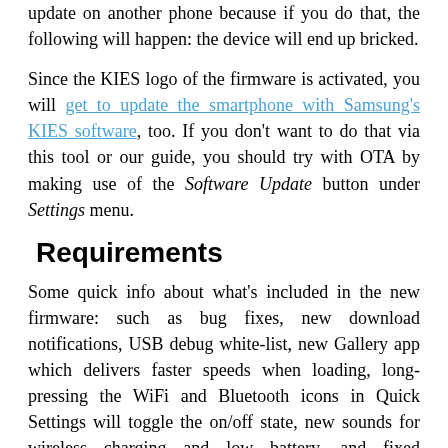update on another phone because if you do that, the following will happen: the device will end up bricked.
Since the KIES logo of the firmware is activated, you will get to update the smartphone with Samsung's KIES software, too. If you don't want to do that via this tool or our guide, you should try with OTA by making use of the Software Update button under Settings menu.
Requirements
Some quick info about what's included in the new firmware: such as bug fixes, new download notifications, USB debug white-list, new Gallery app which delivers faster speeds when loading, long-pressing the WiFi and Bluetooth icons in Quick Settings will toggle the on/off state, new sounds for wireless charging and low battery, and fixed Bluetooth audio streaming bugs.